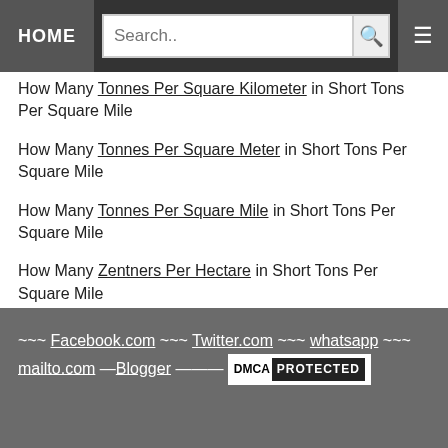HOME | Search.. | [search icon] | [menu icon]
How Many Tonnes Per Square Kilometer in Short Tons Per Square Mile
How Many Tonnes Per Square Meter in Short Tons Per Square Mile
How Many Tonnes Per Square Mile in Short Tons Per Square Mile
How Many Zentners Per Hectare in Short Tons Per Square Mile
~~~ Facebook.com ~~~ Twitter.com ~~~ whatsapp ~~~ mailto.com —Blogger ——— DMCA PROTECTED